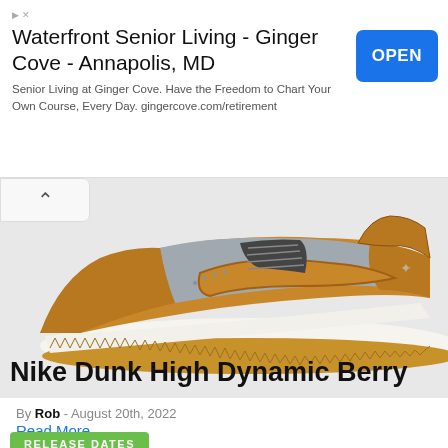[Figure (screenshot): Advertisement banner for Waterfront Senior Living - Ginger Cove - Annapolis, MD with an OPEN button in blue]
[Figure (photo): Nike Air Jordan 1 Low sneaker in wheat/golden brown and grey colorway, side profile view on light grey background]
By Rob - August 20th, 2022
Read More
Nike Dunk High Dynamic Berry
RELEASE DATES